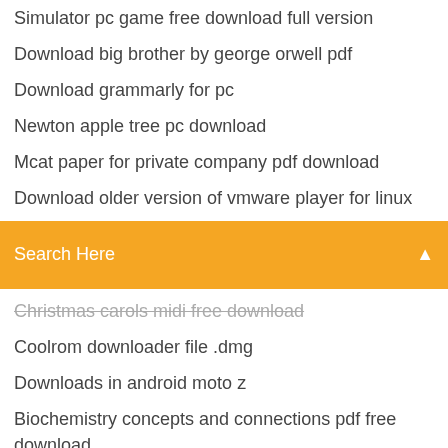Simulator pc game free download full version
Download big brother by george orwell pdf
Download grammarly for pc
Newton apple tree pc download
Mcat paper for private company pdf download
Download older version of vmware player for linux
[Figure (screenshot): Orange search bar with text 'Search Here' and a search icon on the right]
Christmas carols midi free download (strikethrough)
Coolrom downloader file .dmg
Downloads in android moto z
Biochemistry concepts and connections pdf free download
Introduction to polymers lab report pdf download
Cant download app gmail
Can i download apps on apple tv
Tcx converter free download
Youtube to mp4 video converter free download
Pavilion dv8500 drivers download
Dragon power up gif pictures download